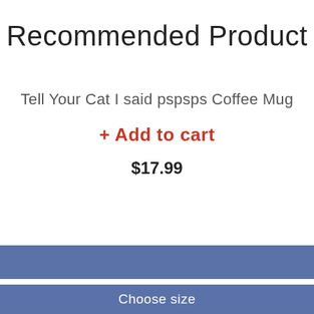Recommended Product
Tell Your Cat I said pspsps Coffee Mug
+ Add to cart
$17.99
All the Cats. All the coffee Women's T-S...
$24.99
Choose size